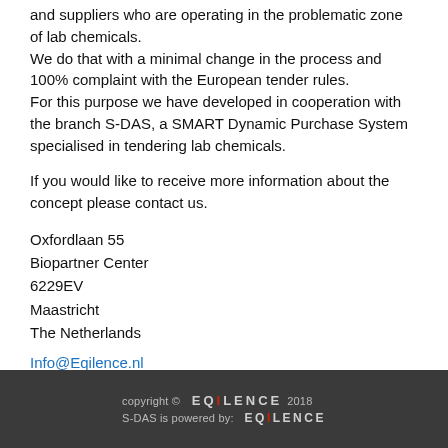and suppliers who are operating in the problematic zone of lab chemicals.
We do that with a minimal change in the process and 100% complaint with the European tender rules.
For this purpose we have developed in cooperation with the branch S-DAS, a SMART Dynamic Purchase System specialised in tendering lab chemicals.
If you would like to receive more information about the concept please contact us.
Oxfordlaan 55
Biopartner Center
6229EV
Maastricht
The Netherlands
Info@Eqilence.nl
copyright © EQILENCE 2018
S-DAS is powered by: EQILENCE